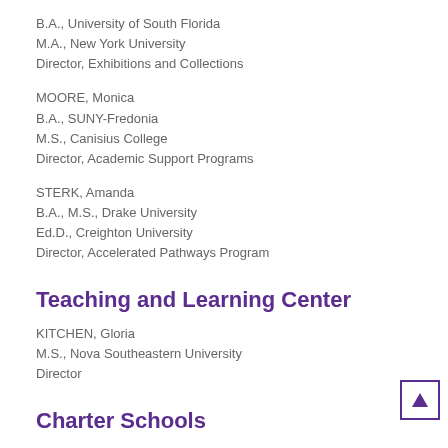B.A., University of South Florida
M.A., New York University
Director, Exhibitions and Collections
MOORE, Monica
B.A., SUNY-Fredonia
M.S., Canisius College
Director, Academic Support Programs
STERK, Amanda
B.A., M.S., Drake University
Ed.D., Creighton University
Director, Accelerated Pathways Program
Teaching and Learning Center
KITCHEN, Gloria
M.S., Nova Southeastern University
Director
Charter Schools
BOTTS, Brian